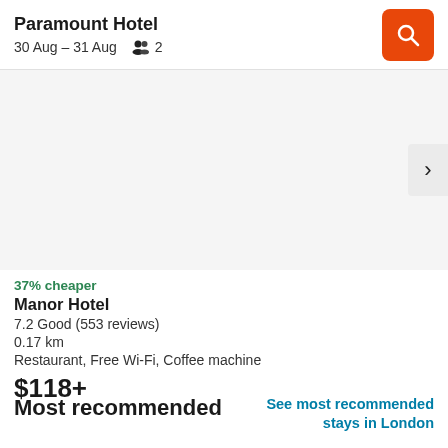Paramount Hotel
30 Aug – 31 Aug  👥 2
[Figure (photo): Hotel image placeholder area (light grey background with navigation arrow on right)]
37% cheaper
Manor Hotel
7.2 Good (553 reviews)
0.17 km
Restaurant, Free Wi-Fi, Coffee machine
$118+
Most recommended
See most recommended stays in London